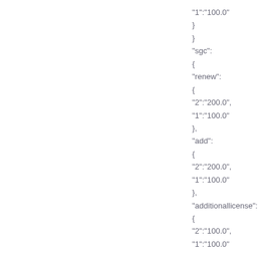"1":"100.0"
}
}
"sgc":
{
"renew":
{
"2":"200.0",
"1":"100.0"
},
"add":
{
"2":"200.0",
"1":"100.0"
},
"additionallicense":
{
"2":"100.0",
"1":"100.0"